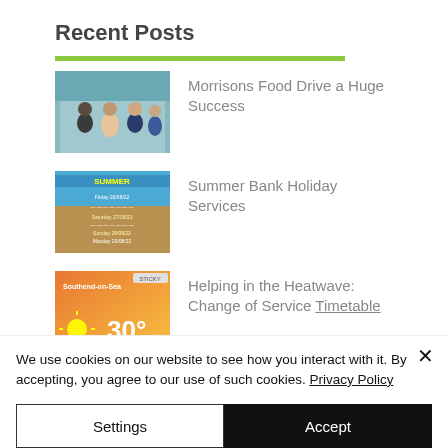Recent Posts
Morrisons Food Drive a Huge Success
Summer Bank Holiday Services
Helping in the Heatwave: Change of Service Timetable
We use cookies on our website to see how you interact with it. By accepting, you agree to our use of such cookies. Privacy Policy